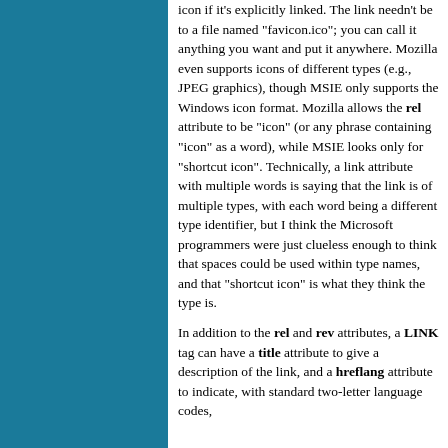icon if it's explicitly linked. The link needn't be to a file named "favicon.ico"; you can call it anything you want and put it anywhere. Mozilla even supports icons of different types (e.g., JPEG graphics), though MSIE only supports the Windows icon format. Mozilla allows the rel attribute to be "icon" (or any phrase containing "icon" as a word), while MSIE looks only for "shortcut icon". Technically, a link attribute with multiple words is saying that the link is of multiple types, with each word being a different type identifier, but I think the Microsoft programmers were just clueless enough to think that spaces could be used within type names, and that "shortcut icon" is what they think the type is.
In addition to the rel and rev attributes, a LINK tag can have a title attribute to give a description of the link, and a hreflang attribute to indicate, with standard two-letter language codes,